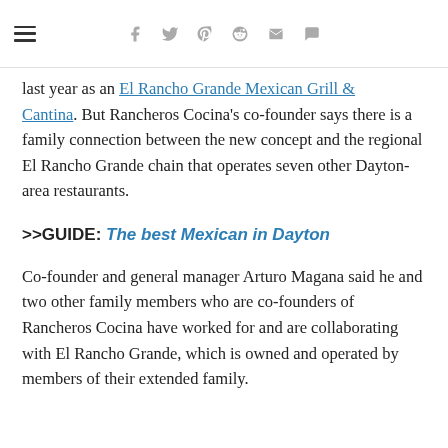[hamburger menu] [social icons: facebook, twitter, pinterest, reddit, mail, comment]
last year as an El Rancho Grande Mexican Grill & Cantina. But Rancheros Cocina's co-founder says there is a family connection between the new concept and the regional El Rancho Grande chain that operates seven other Dayton-area restaurants.
>>GUIDE: The best Mexican in Dayton
Co-founder and general manager Arturo Magana said he and two other family members who are co-founders of Rancheros Cocina have worked for and are collaborating with El Rancho Grande, which is owned and operated by members of their extended family.